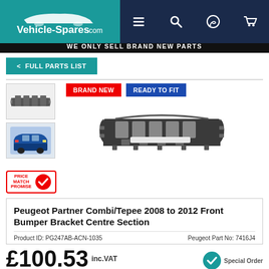[Figure (logo): Vehicle-Spares.com logo with car silhouette on teal background]
WE ONLY SELL BRAND NEW PARTS
FULL PARTS LIST
[Figure (photo): Two thumbnail images: one of the front bumper bracket part isolated, one of a Peugeot Partner vehicle. Main product image shows the Front Bumper Bracket Centre Section part. Badges: BRAND NEW, READY TO FIT]
[Figure (logo): Price Match Promise badge with red checkmark]
Peugeot Partner Combi/Tepee 2008 to 2012 Front Bumper Bracket Centre Section
Product ID: PG247AB-ACN-1035    Peugeot Part No: 7416J4
£100.53 inc.VAT £83.78 ex.VAT